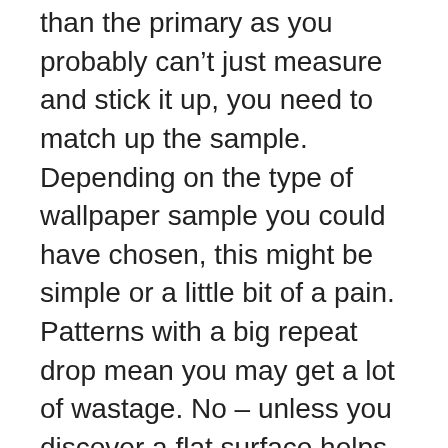than the primary as you probably can't just measure and stick it up, you need to match up the sample. Depending on the type of wallpaper sample you could have chosen, this might be simple or a little bit of a pain. Patterns with a big repeat drop mean you may get a lot of wastage. No – unless you discover a flat surface helps whenever you're measuring out your lengths previous to hanging. I'm a big believer in creating stunning decor that doesn't cost the earth through the use of daily issues and a little creativity. Wallpaper table runners for Easter